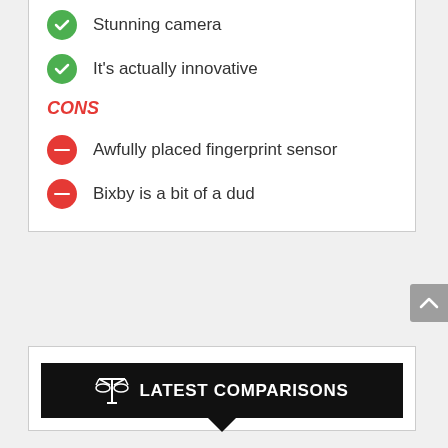Stunning camera
It's actually innovative
CONS
Awfully placed fingerprint sensor
Bixby is a bit of a dud
LATEST COMPARISONS